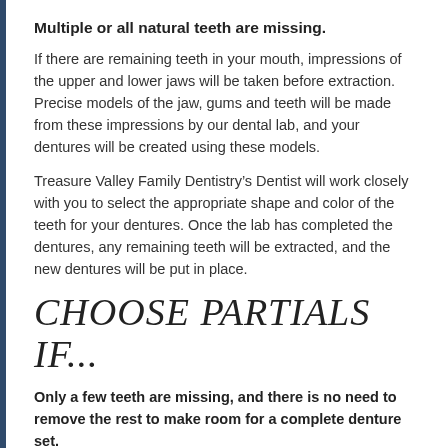Multiple or all natural teeth are missing.
If there are remaining teeth in your mouth, impressions of the upper and lower jaws will be taken before extraction. Precise models of the jaw, gums and teeth will be made from these impressions by our dental lab, and your dentures will be created using these models.
Treasure Valley Family Dentistry’s Dentist will work closely with you to select the appropriate shape and color of the teeth for your dentures. Once the lab has completed the dentures, any remaining teeth will be extracted, and the new dentures will be put in place.
CHOOSE PARTIALS IF...
Only a few teeth are missing, and there is no need to remove the rest to make room for a complete denture set.